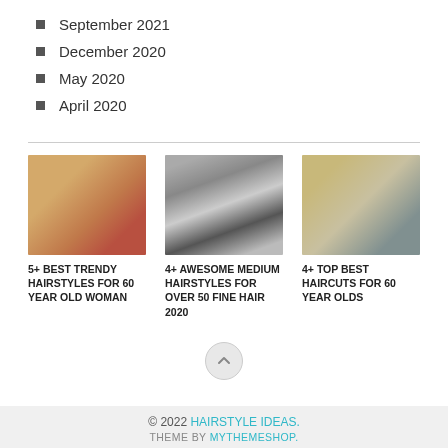September 2021
December 2020
May 2020
April 2020
[Figure (photo): Woman with short blonde pixie cut wearing red sweater]
5+ BEST TRENDY HAIRSTYLES FOR 60 YEAR OLD WOMAN
[Figure (photo): Back view of medium bob hairstyle with silver and dark highlights]
4+ AWESOME MEDIUM HAIRSTYLES FOR OVER 50 FINE HAIR 2020
[Figure (photo): Side view of woman with layered blonde bob haircut]
4+ TOP BEST HAIRCUTS FOR 60 YEAR OLDS
© 2022 HAIRSTYLE IDEAS. THEME BY MYTHEMESHOP.